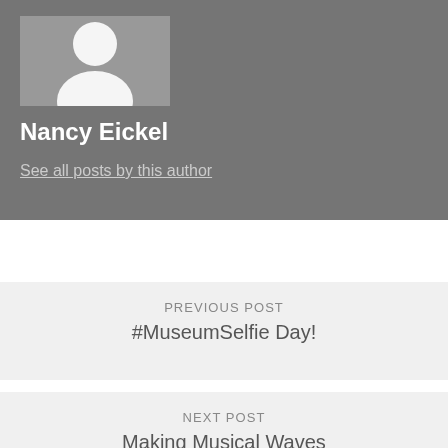[Figure (illustration): Generic grey avatar/silhouette placeholder image showing a person outline on a grey background]
Nancy Eickel
See all posts by this author
PREVIOUS POST
#MuseumSelfie Day!
NEXT POST
Making Musical Waves